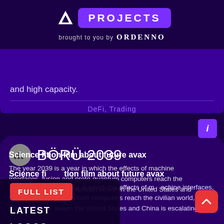PROJECTS — brought to you by ORDENNO
and high capacity.
DeFi, Trading
BÖRÜ 2039
Science fiction film about future avax
The year 2039 is a year in which the effects of machine interfaces, fusion and proto-quantum computers reach the civilian world, and the tension between the United States and China is escalating.
FULL LIST
LATEST
LOGOS
FINDER